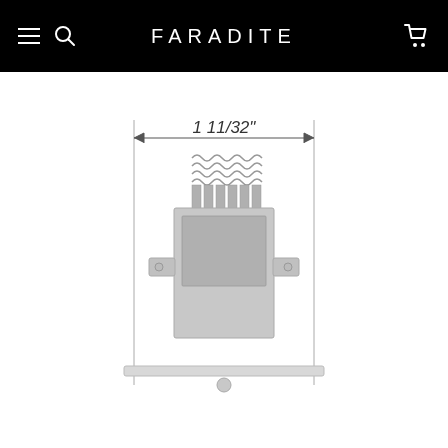FARADITE
[Figure (engineering-diagram): Front-view engineering diagram of a small recessed lighting fixture module showing spring mechanism on top, heat sink fins, housing body, and mounting flange at bottom. A dimension line indicates the width as 1 11/32 inches.]